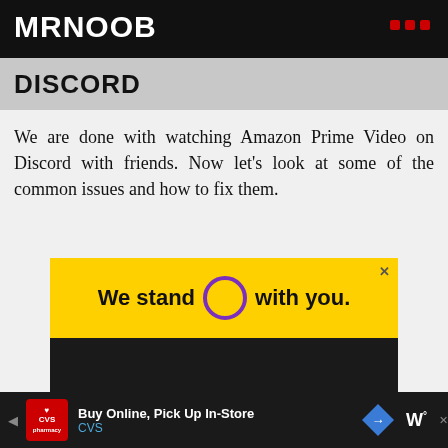MRNOOB
DISCORD
We are done with watching Amazon Prime Video on Discord with friends. Now let's look at some of the common issues and how to fix them.
[Figure (advertisement): Yellow and black advertisement banner reading 'We stand O with you.' where O is a purple circle. Below the yellow banner is a dark/black section. A close X button appears top right.]
Buy Online, Pick Up In-Store CVS